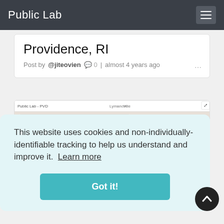Public Lab
Providence, RI
Post by @jiteovien  0  |  almost 4 years ago
[Figure (map): Screenshot of an air quality map overlay showing Providence, RI area with a US EPA PM2.5 AQI chart panel on the left and a street map on the right with an orange location marker.]
This website uses cookies and non-individually-identifiable tracking to help us understand and improve it.  Learn more
Got it!